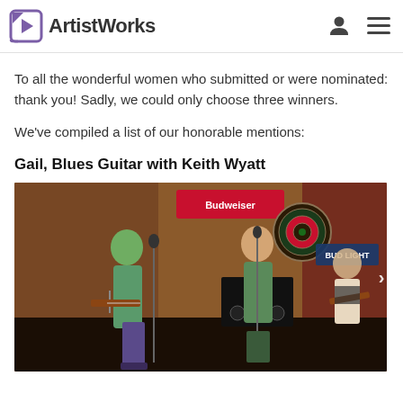ArtistWorks
To all the wonderful women who submitted or were nominated: thank you! Sadly, we could only choose three winners.
We've compiled a list of our honorable mentions:
Gail, Blues Guitar with Keith Wyatt
[Figure (photo): Band playing in a bar/venue setting. A woman with green hair on the left plays electric guitar, a man in the center sings into a microphone, and another musician sits on the right. A Budweiser sign and dartboard are visible in the background. A PML speaker cabinet is visible.]